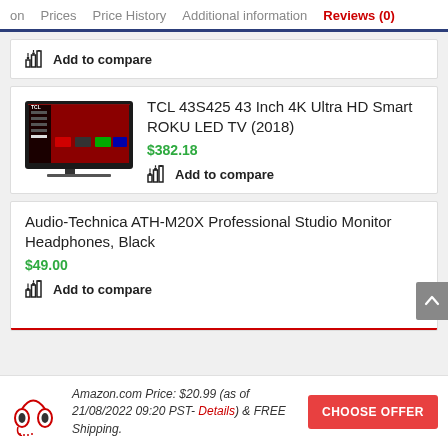on   Prices   Price History   Additional information   Reviews (0)
Add to compare
TCL 43S425 43 Inch 4K Ultra HD Smart ROKU LED TV (2018)
$382.18
Add to compare
Audio-Technica ATH-M20X Professional Studio Monitor Headphones, Black
$49.00
Add to compare
Amazon.com Price: $20.99 (as of 21/08/2022 09:20 PST- Details) & FREE Shipping.
CHOOSE OFFER